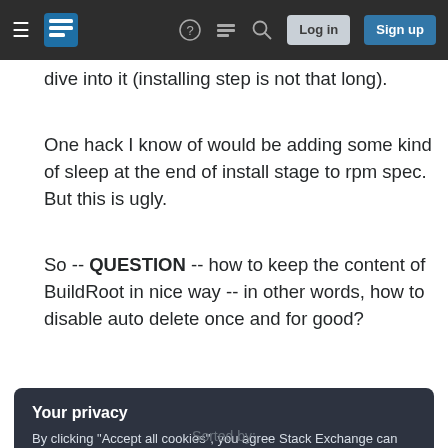[Figure (screenshot): Stack Exchange navigation bar with hamburger menu, logo, help icon, chat icon, search icon, Log in button, and Sign up button on dark background]
dive into it (installing step is not that long).
One hack I know of would be adding some kind of sleep at the end of install stage to rpm spec. But this is ugly.
So -- QUESTION -- how to keep the content of BuildRoot in nice way -- in other words, how to disable auto delete once and for good?
rpm
Your privacy
By clicking "Accept all cookies", you agree Stack Exchange can store cookies on your device and disclose information in accordance with our Cookie Policy.
Sorted by: